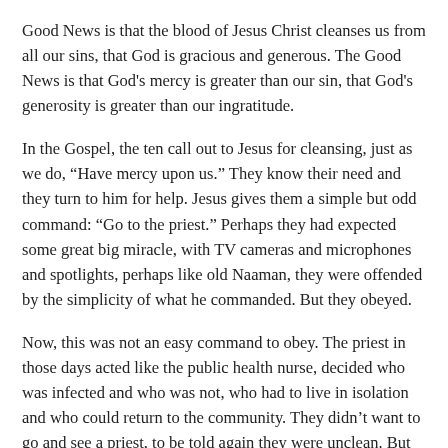Good News is that the blood of Jesus Christ cleanses us from all our sins, that God is gracious and generous. The Good News is that God's mercy is greater than our sin, that God's generosity is greater than our ingratitude.
In the Gospel, the ten call out to Jesus for cleansing, just as we do, “Have mercy upon us.” They know their need and they turn to him for help. Jesus gives them a simple but odd command: “Go to the priest.” Perhaps they had expected some great big miracle, with TV cameras and microphones and spotlights, perhaps like old Naaman, they were offended by the simplicity of what he commanded. But they obeyed.
Now, this was not an easy command to obey. The priest in those days acted like the public health nurse, decided who was infected and who was not, who had to live in isolation and who could return to the community. They didn’t want to go and see a priest, to be told again they were unclean. But they went. And as they went, they were cleansed. It was only in obedience to Jesus, trusting and obeying him, that they were cleansed. They came to Jesus looking for a promise, and what he gave them, as